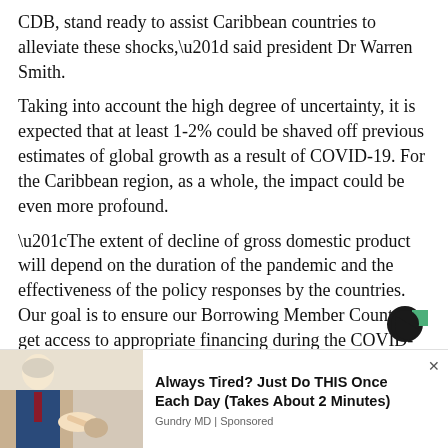CDB, stand ready to assist Caribbean countries to alleviate these shocks,” said president Dr Warren Smith.
Taking into account the high degree of uncertainty, it is expected that at least 1-2% could be shaved off previous estimates of global growth as a result of COVID-19. For the Caribbean region, as a whole, the impact could be even more profound.
“The extent of decline of gross domestic product will depend on the duration of the pandemic and the effectiveness of the policy responses by the countries. Our goal is to ensure our Borrowing Member Countries get access to appropriate financing during the COVID-19 pandemic and to be their partner in the post-crisis recovery,” said Dr Smith.
[Figure (logo): Circular logo with green square accent, dark background]
[Figure (photo): Advertisement photo showing an older man in a suit pointing at something]
Always Tired? Just Do THIS Once Each Day (Takes About 2 Minutes)
Gundry MD | Sponsored